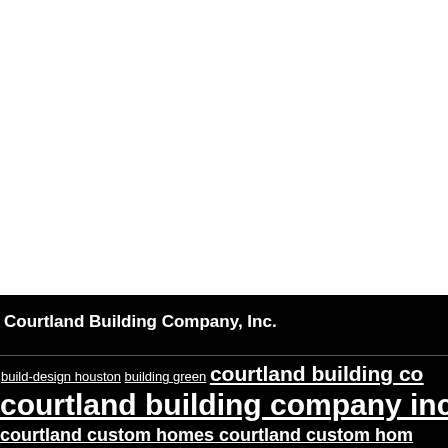[Figure (photo): White area occupying the top portion of the page, appears to be a blank or image area.]
Courtland Building Company, Inc.
build-design houston building green courtland building co courtland building company inc cou courtland custom homes courtland custom hom